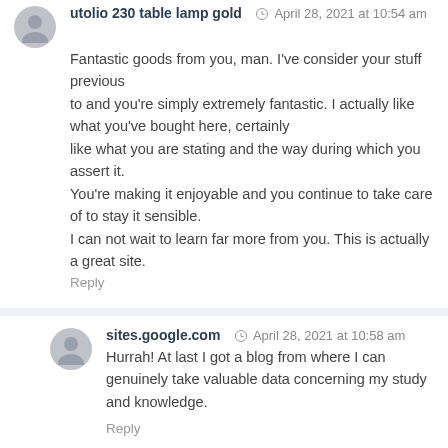utolio 230 table lamp gold · April 28, 2021 at 10:54 am
Fantastic goods from you, man. I've consider your stuff previous
to and you're simply extremely fantastic. I actually like what you've bought here, certainly
like what you are stating and the way during which you assert it.
You're making it enjoyable and you continue to take care of to stay it sensible.
I can not wait to learn far more from you. This is actually a great site.
Reply
sites.google.com · April 28, 2021 at 10:58 am
Hurrah! At last I got a blog from where I can genuinely take valuable data concerning my study and knowledge.
Reply
mid century orb lamp · April 28, 2021 at 11:05 am
Woah! I'm really loving the template/theme of this website.
It's simple, yet effective. A lot of times it's hard to get